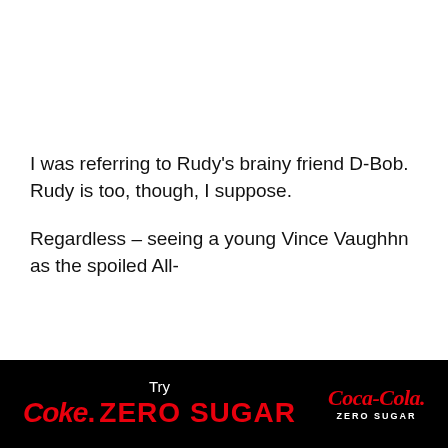I was referring to Rudy's brainy friend D-Bob. Rudy is too, though, I suppose.
Regardless – seeing a young Vince Vaughn as the spoiled All-
[Figure (illustration): Coca-Cola Zero Sugar advertisement banner with black background. Text reads 'Try Coke. ZERO SUGAR' in red and white, with Coca-Cola Zero Sugar logo on the right.]